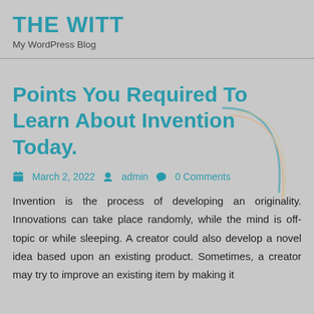THE WITT
My WordPress Blog
Points You Required To Learn About Invention Today.
March 2, 2022   admin   0 Comments
Invention is the process of developing an originality. Innovations can take place randomly, while the mind is off-topic or while sleeping. A creator could also develop a novel idea based upon an existing product. Sometimes, a creator may try to improve an existing item by making it